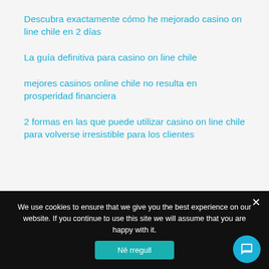Descubra exactamente cómo he mejorado casino on line chile en 2 días
La guía definitiva para casino on line chile
mejores casinos online chile no resulta en prosperidad financiera
2 formas en las que puede utilizar casino on line chile para volverse irresistible para los clientes
We use cookies to ensure that we give you the best experience on our website. If you continue to use this site we will assume that you are happy with it.
Në rregull